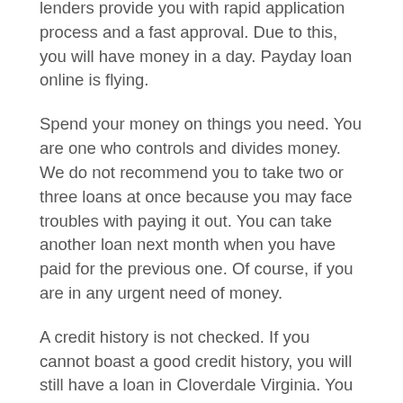lenders provide you with rapid application process and a fast approval. Due to this, you will have money in a day. Payday loan online is flying.
Spend your money on things you need. You are one who controls and divides money. We do not recommend you to take two or three loans at once because you may face troubles with paying it out. You can take another loan next month when you have paid for the previous one. Of course, if you are in any urgent need of money.
A credit history is not checked. If you cannot boast a good credit history, you will still have a loan in Cloverdale Virginia. You should just be confident that you can repay the loan, and that what lenders will ask you.